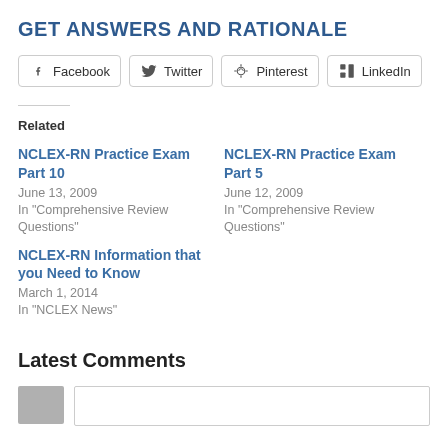GET ANSWERS AND RATIONALE
[Figure (other): Social share buttons: Facebook, Twitter, Pinterest, LinkedIn]
Related
NCLEX-RN Practice Exam Part 10
June 13, 2009
In "Comprehensive Review Questions"
NCLEX-RN Practice Exam Part 5
June 12, 2009
In "Comprehensive Review Questions"
NCLEX-RN Information that you Need to Know
March 1, 2014
In "NCLEX News"
Latest Comments
[Figure (other): Comment section placeholder with avatar and comment input box]